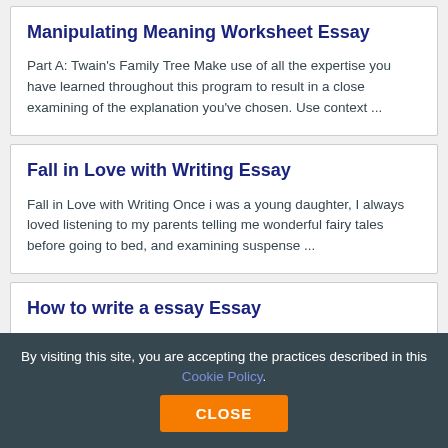Manipulating Meaning Worksheet Essay
Part A: Twain’s Family Tree Make use of all the expertise you have learned throughout this program to result in a close examining of the explanation you’ve chosen. Use context ...
Fall in Love with Writing Essay
Fall in Love with Writing Once i was a young daughter, I always loved listening to my parents telling me wonderful fairy tales before going to bed, and examining suspense ...
How to write a essay Essay
By visiting this site, you are accepting the practices described in this Cookie Policy.